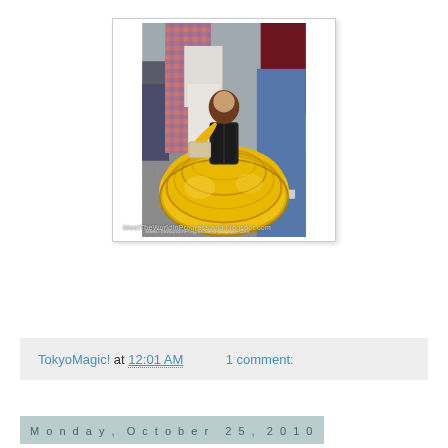[Figure (photo): A person wearing a large yellow Belle-style ballgown costume with black bodice and yellow gloves, bending down on a cobblestone street surrounded by onlookers. Watermark reads: MeetTheWorldInProgressland.blogspot.com]
TokyoMagic! at 12:01 AM    1 comment:
Monday, October 25, 2010